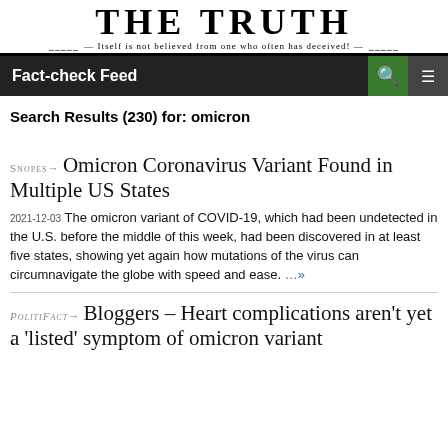[Figure (logo): THE TRUTH newspaper banner logo with tagline 'Itself is not believed from one who often has deceived!']
Fact-check Feed
Search Results (230) for: omicron
Snopes → Omicron Coronavirus Variant Found in Multiple US States
2021-12-03 The omicron variant of COVID-19, which had been undetected in the U.S. before the middle of this week, had been discovered in at least five states, showing yet again how mutations of the virus can circumnavigate the globe with speed and ease. …»
PolitiFact → Bloggers – Heart complications aren't yet a 'listed' symptom of omicron variant